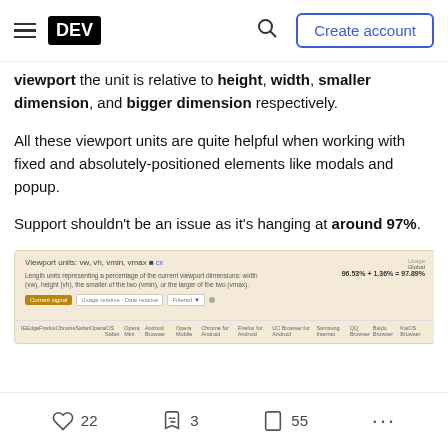DEV — Create account
viewport the unit is relative to height, width, smaller dimension, and bigger dimension respectively.
All these viewport units are quite helpful when working with fixed and absolutely-positioned elements like modals and popup.
Support shouldn't be an issue as it's hanging at around 97%.
[Figure (screenshot): Screenshot of caniuse.com showing browser support for Viewport units: vw, vh, vmin, vmax with around 97% global support, including browser compatibility table.]
22 likes, 3 reactions, 55 bookmarks